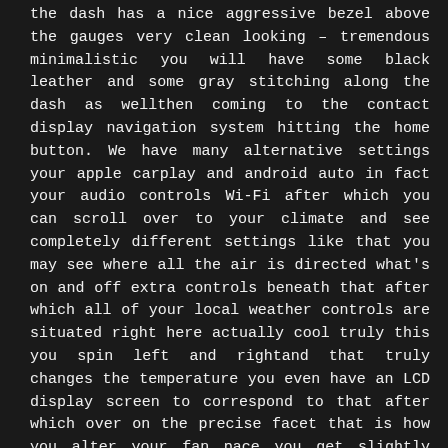the dash has a nice aggressive bezel above the gauges very clean looking – tremendous minimalistic you will have some black leather and some gray stitching along the dash as wellthen coming to the contact display navigation system hitting the home button. We have many alternative settings your apple carplay and android auto in fact your audio controls Wi-Fi after which you can scroll over to your climate and see completely different settings like that you may see where all the air is directed what's on and off extra controls beneath that after which all of your local weather controls are situated right here actually cool truly this you spin left and rightand that truly changes the temperature you even have an LCD display screen to correspond to that after which over on the precise facet that is how you alter your fan pace you get slightly screen as nicely and your analysis a see all the totally different buttons your defogger you're the Alcantara on the shift knob as nicely asthe shifter boot very straightforward to have interaction you to gear brief shifter extraordinarily sighs good weighted shift knob to give Subaru Pickup Truck 2020.